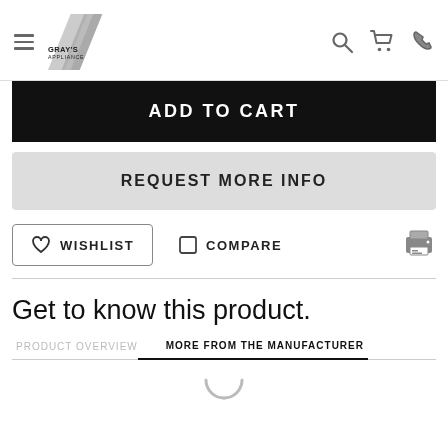Gray's Appliance — navigation header with logo, search, cart, and phone icons
ADD TO CART
REQUEST MORE INFO
WISHLIST
COMPARE
Get to know this product.
PRODUCT OVERVIEW
MORE FROM THE MANUFACTURER